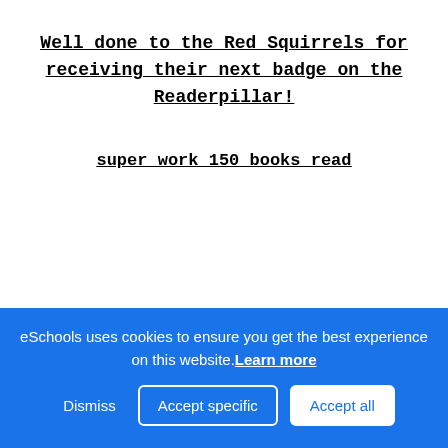Well done to the Red Squirrels for receiving their next badge on the Readerpillar!
super work 150 books read
eSchools uses cookies to ensure you get the best experience on this website. Learn more  Dismiss  Accept specific  Accept all